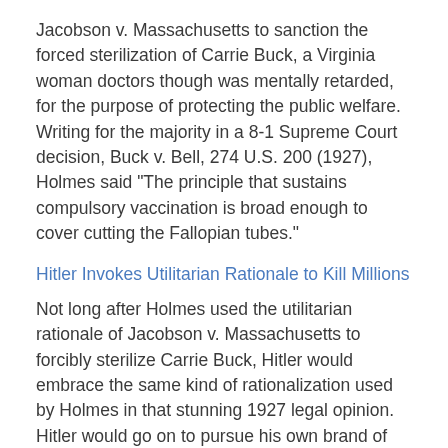Jacobson v. Massachusetts to sanction the forced sterilization of Carrie Buck, a Virginia woman doctors though was mentally retarded, for the purpose of protecting the public welfare. Writing for the majority in a 8-1 Supreme Court decision, Buck v. Bell, 274 U.S. 200 (1927), Holmes said "The principle that sustains compulsory vaccination is broad enough to cover cutting the Fallopian tubes."
Hitler Invokes Utilitarian Rationale to Kill Millions
Not long after Holmes used the utilitarian rationale of Jacobson v. Massachusetts to forcibly sterilize Carrie Buck, Hitler would embrace the same kind of rationalization used by Holmes in that stunning 1927 legal opinion. Hitler would go on to pursue his own brand of social engineering to eliminate those individuals deemed by the Third Reich to be genetically defective, inferior and a threat to the health and well being of society.